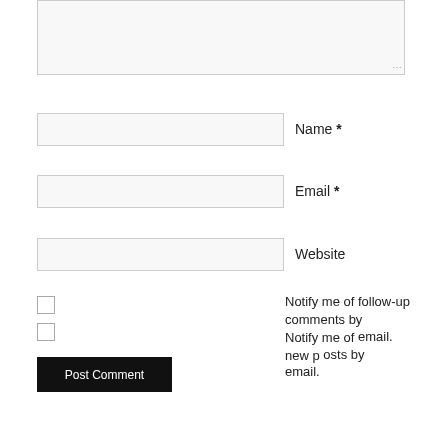[Figure (screenshot): Textarea input box (comment field) with resize handle at bottom right]
Name *
Email *
Website
Notify me of follow-up comments by email. Notify me of new posts by email.
Post Comment